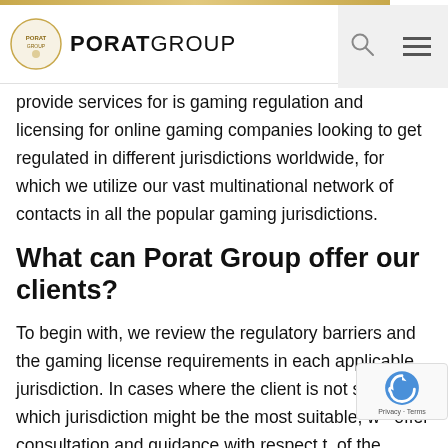PORAT GROUP
provide services for is gaming regulation and licensing for online gaming companies looking to get regulated in different jurisdictions worldwide, for which we utilize our vast multinational network of contacts in all the popular gaming jurisdictions.
What can Porat Group offer our clients?
To begin with, we review the regulatory barriers and the gaming license requirements in each applicable jurisdiction. In cases where the client is not sure of which jurisdiction might be the most suitable, we offer consultation and guidance with respect to of the jurisdictions that might be relevant